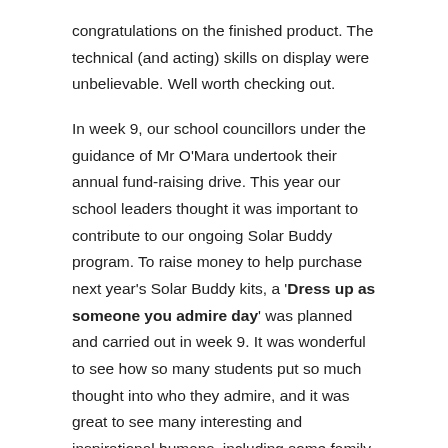congratulations on the finished product. The technical (and acting) skills on display were unbelievable. Well worth checking out.
In week 9, our school councillors under the guidance of Mr O'Mara undertook their annual fund-raising drive. This year our school leaders thought it was important to contribute to our ongoing Solar Buddy program. To raise money to help purchase next year's Solar Buddy kits, a 'Dress up as someone you admire day' was planned and carried out in week 9. It was wonderful to see how so many students put so much thought into who they admire, and it was great to see many interesting and inspirational humans, including some family members and teachers, gracing our school grounds for the day. In the end, the team raised over $400 for the cause. A job well done.